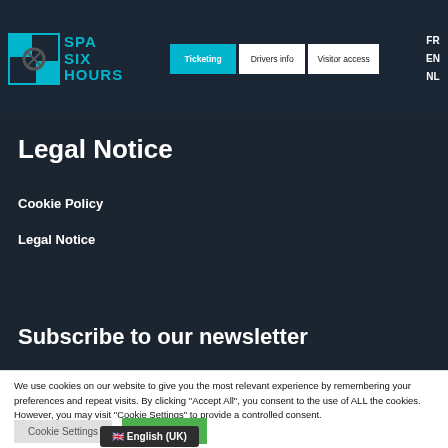SPA SIX HOURS — Ticketing | Drivers info | Visitor access | FR EN NL
Legal Notice
Cookie Policy
Legal Notice
Subscribe to our newsletter
We use cookies on our website to give you the most relevant experience by remembering your preferences and repeat visits. By clicking “Accept All”, you consent to the use of ALL the cookies. However, you may visit "Cookie Settings" to provide a controlled consent.
Cookie Settings    Accept All
🇬🇧 English (UK)